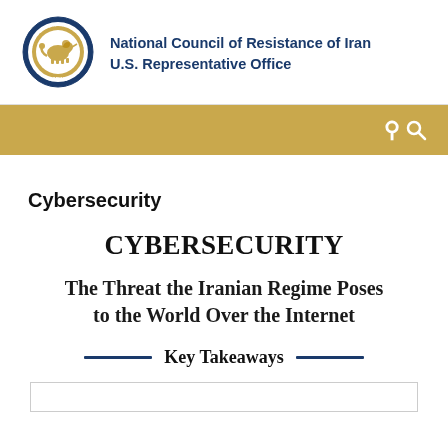National Council of Resistance of Iran
U.S. Representative Office
[Figure (logo): Circular seal of the National Council of Resistance of Iran (NCRIUS) with a lion and sun emblem in gold, dark blue border with text around the rim]
Cybersecurity
CYBERSECURITY
The Threat the Iranian Regime Poses to the World Over the Internet
Key Takeaways